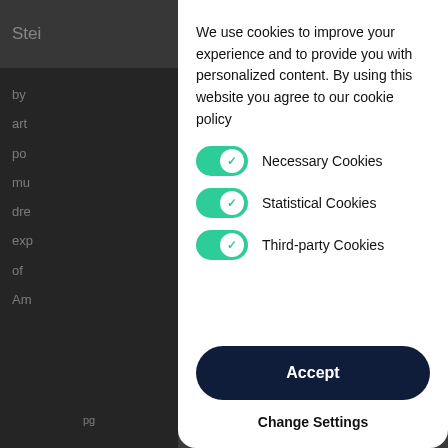[Figure (screenshot): Background website content partially visible behind cookie consent modal overlay. Shows a dark header with text 'Stei...' and body text lines starting with 'by', 'art', 'po', 'mu', 'dre', 'exp', 'of', 'Am'.]
We use cookies to improve your experience and to provide you with personalized content. By using this website you agree to our cookie policy
Necessary Cookies
Statistical Cookies
Third-party Cookies
Accept
Change Settings